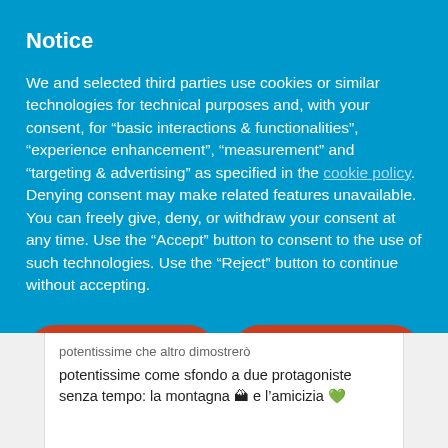Notice
We and selected third parties use cookies or similar technologies for technical purposes and, with your consent, for “basic interactions & functionalities”, “experience enhancement”, “measurement” and “targeting & advertising” as specified in the cookie policy. Denying consent may make related features unavailable.
You can freely give, deny, or withdraw your consent at any time. Use the “Accept” button to consent to the use of such technologies. Use the “Reject” button to continue without accepting.
Reject
Accept
Learn more and customize
potentissime come sfondo a due protagoniste senza tempo: la montagna 🏔 e l’amicizia 💚